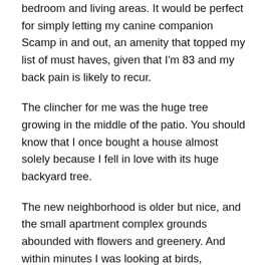bedroom and living areas. It would be perfect for simply letting my canine companion Scamp in and out, an amenity that topped my list of must haves, given that I'm 83 and my back pain is likely to recur.
The clincher for me was the huge tree growing in the middle of the patio. You should know that I once bought a house almost solely because I fell in love with its huge backyard tree.
The new neighborhood is older but nice, and the small apartment complex grounds abounded with flowers and greenery. And within minutes I was looking at birds, including nesting doves above the office door. I can already envision a small fountain and bird feeders beneath that patio tree.
All of the above gave me the confidence that I can meld